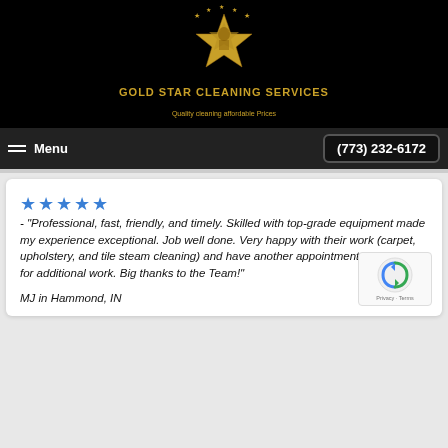[Figure (logo): Gold Star Cleaning Services logo with a gold star on black background, surrounded by small stars]
GOLD STAR CLEANING SERVICES
Quality cleaning affordable Prices
Menu   (773) 232-6172
★★★★★ - "Professional, fast, friendly, and timely. Skilled with top-grade equipment made my experience exceptional. Job well done. Very happy with their work (carpet, upholstery, and tile steam cleaning) and have another appointment scheduled for additional work. Big thanks to the Team!"
MJ in Hammond, IN